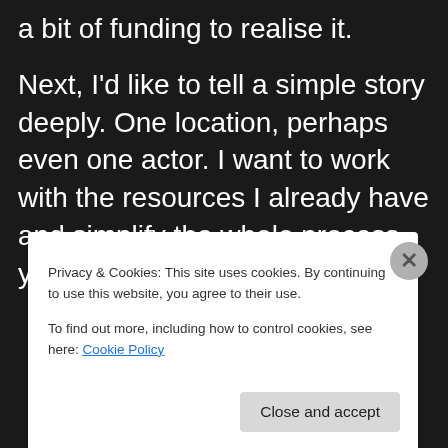a bit of funding to realise it.
Next, I'd like to tell a simple story deeply. One location, perhaps even one actor. I want to work with the resources I already have and simplify the whole process yet still produce a great story.
Privacy & Cookies: This site uses cookies. By continuing to use this website, you agree to their use.
To find out more, including how to control cookies, see here: Cookie Policy
Close and accept